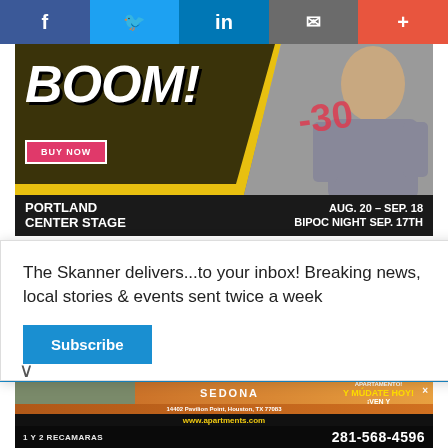[Figure (screenshot): Social media sharing bar with Facebook, Twitter, LinkedIn, email, and plus buttons]
[Figure (photo): BOOM! theater advertisement for Portland Center Stage, Aug. 20 – Sep. 18, BIPOC Night Sep. 17th, with BUY NOW button]
The Skanner delivers...to your inbox! Breaking news, local stories & events sent twice a week
Subscribe
[Figure (photo): Sedona Apartments advertisement: 1 Y 2 RECAMARAS, 14402 Pavilion Point, Houston, TX 77083, www.apartments.com, 281-568-4596, ¡RENTA TU APARTAMENTO! Y MÚDATE HOY! ¡VEN Y VISITANOS!]